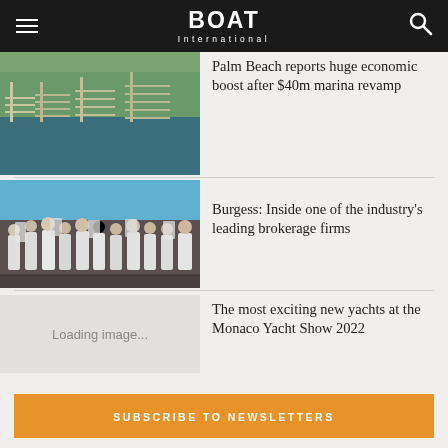BOAT International
[Figure (photo): Aerial view of a marina with boats and docks]
Palm Beach reports huge economic boost after $40m marina revamp
[Figure (photo): Group of people in formal attire standing on a yacht deck]
Burgess: Inside one of the industry's leading brokerage firms
Loading image...
The most exciting new yachts at the Monaco Yacht Show 2022
SUBSCRIBE TO NEWSLETTERS